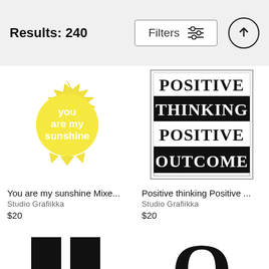Results: 240
Filters
[Figure (illustration): Yellow cartoon sun with spiky rays and white text 'you are my sunshine']
You are my sunshine Mixe...
Studio Grafiikka
$20
[Figure (illustration): Typography poster with black and white text: POSITIVE THINKING POSITIVE OUTCOME, alternating black background bands]
Positive thinking Positive ...
Studio Grafiikka
$20
[Figure (illustration): Partial black letter forms visible at bottom left]
[Figure (illustration): Partial black letter O visible at bottom right]